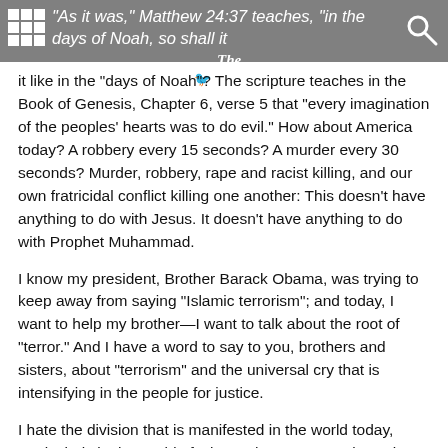The Final Call
“As it was,” Matthew 24:37 teaches, “in the days of Noah, so shall it be at the coming of the Son of Man.”  Is it like that today?  What was it like in the “days of Noah”?  The scripture teaches in the Book of Genesis, Chapter 6, verse 5 that “every imagination of the peoples’ hearts was to do evil.”  How about America today?  A robbery every 15 seconds?  A murder every 30 seconds?  Murder, robbery, rape and racist killing, and our own fratricidal conflict killing one another:  This doesn’t have anything to do with Jesus.  It doesn’t have anything to do with Prophet Muhammad.
I know my president, Brother Barack Obama, was trying to keep away from saying “Islamic terrorism”; and today, I want to help my brother—I want to talk about the root of “terror.”  And I have a word to say to you, brothers and sisters, about “terrorism” and the universal cry that is intensifying in the people for justice.
I hate the division that is manifested in the world today, particularly in the world of Islam, where we are witnessing the killing of Christians because they are Christians, the killing of Jews because they are